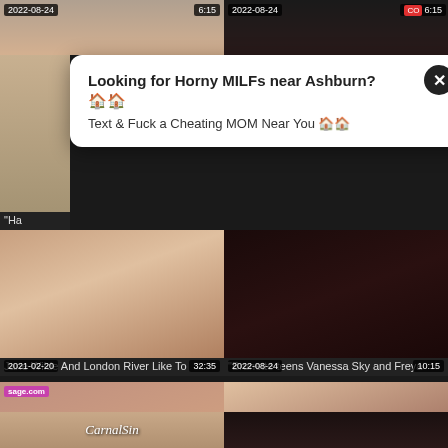[Figure (screenshot): Adult video thumbnail grid webpage with popup advertisement overlay. Top row shows two video thumbnails dated 2022-08-24 with durations 6:15. A popup ad reads 'Looking for Horny MILFs near Ashburn?' with close button. Middle row shows two video thumbnails: 'Jane Wilde And London River Like To' (2021-02-20, 32:35) and 'Brunette teens Vanessa Sky and Freya' (2022-08-24, 10:15). Bottom section shows two more thumbnails: 'Les oiled babes enjoy 69 after' (2022-08-24, 6:15) and 'Busty girl finally licking black gf and the' (2022-06-07, 6:20). Partial bottom row visible with CarnalSin watermark.]